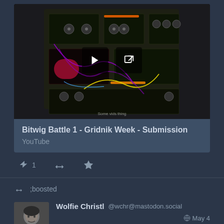[Figure (screenshot): Video thumbnail of a modular synthesizer Bitwig/Eurorack setup with play and external link buttons overlaid. Caption reads 'Some vids thing'.]
Bitwig Battle 1 - Gridnik Week - Submission
YouTube
1
;boosted
[Figure (photo): Avatar photo of Wolfie Christl, a man in a grey shirt]
Wolfie Christl @wchr@mastodon.social May 4
A keyboard app with >100 million installs that has almost full access to the phone and contains tracking code by 20 companies including Google,